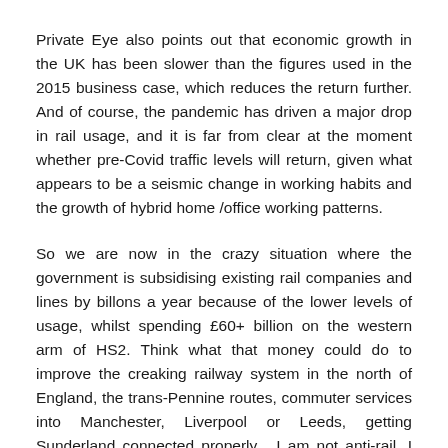Private Eye also points out that economic growth in the UK has been slower than the figures used in the 2015 business case, which reduces the return further. And of course, the pandemic has driven a major drop in rail usage, and it is far from clear at the moment whether pre-Covid traffic levels will return, given what appears to be a seismic change in working habits and the growth of hybrid home /office working patterns.
So we are now in the crazy situation where the government is subsidising existing rail companies and lines by billons a year because of the lower levels of usage, whilst spending £60+ billion on the western arm of HS2. Think what that money could do to improve the creaking railway system in the north of England, the trans-Pennine routes, commuter services into Manchester, Liverpool or Leeds, getting Sunderland connected properly... I am not anti-rail, I should say, but